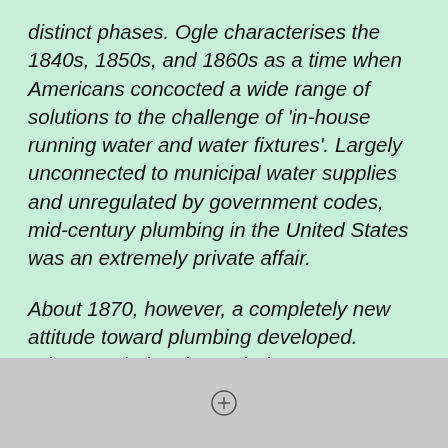distinct phases. Ogle characterises the 1840s, 1850s, and 1860s as a time when Americans concocted a wide range of solutions to the challenge of 'in-house running water and water fixtures'. Largely unconnected to municipal water supplies and unregulated by government codes, mid-century plumbing in the United States was an extremely private affair.
About 1870, however, a completely new attitude toward plumbing developed. Whereas during the period 1840-70 plumbing had been seen as a way to